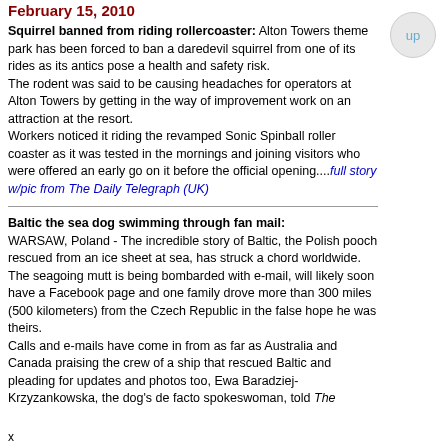February 15, 2010
Squirrel banned from riding rollercoaster: Alton Towers theme park has been forced to ban a daredevil squirrel from one of its rides as its antics pose a health and safety risk.
The rodent was said to be causing headaches for operators at Alton Towers by getting in the way of improvement work on an attraction at the resort.
Workers noticed it riding the revamped Sonic Spinball roller coaster as it was tested in the mornings and joining visitors who were offered an early go on it before the official opening....full story w/pic from The Daily Telegraph (UK)
Baltic the sea dog swimming through fan mail:
WARSAW, Poland - The incredible story of Baltic, the Polish pooch rescued from an ice sheet at sea, has struck a chord worldwide.
The seagoing mutt is being bombarded with e-mail, will likely soon have a Facebook page and one family drove more than 300 miles (500 kilometers) from the Czech Republic in the false hope he was theirs.
Calls and e-mails have come in from as far as Australia and Canada praising the crew of a ship that rescued Baltic and pleading for updates and photos too, Ewa Baradziej-Krzyzankowska, the dog's de facto spokeswoman, told The
x